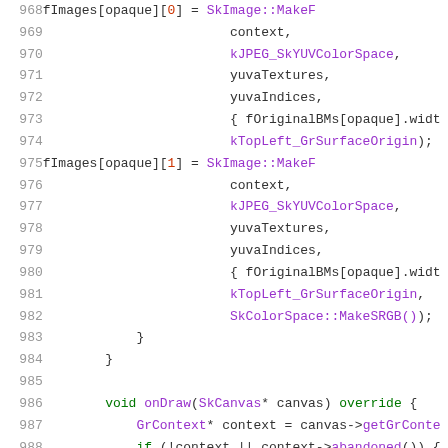[Figure (screenshot): Source code listing showing C++ code lines 968-988, displaying fImages array assignments with SkImage::MakeFrom calls and parameters including context, kJPEG_SkYUVColorSpace, yuvaTextures, yuvaIndices, fOriginalBMs, kTopLeft_GrSurfaceOrigin, SkColorSpace::MakeSRGB(), followed by closing braces and a void onDraw function definition.]